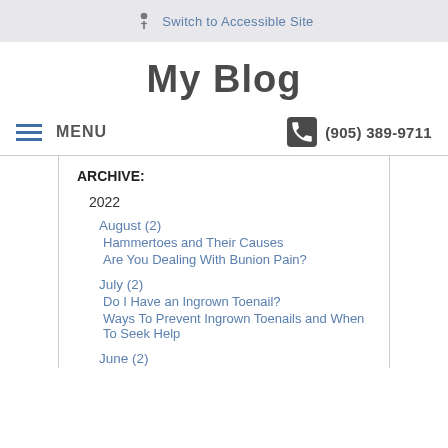Switch to Accessible Site
My Blog
MENU   (905) 389-9711
ARCHIVE:
2022
August (2)
Hammertoes and Their Causes
Are You Dealing With Bunion Pain?
July (2)
Do I Have an Ingrown Toenail?
Ways To Prevent Ingrown Toenails and When To Seek Help
June (2)